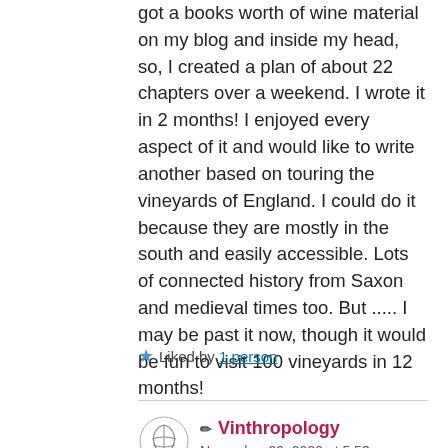got a books worth of wine material on my blog and inside my head, so, I created a plan of about 22 chapters over a weekend. I wrote it in 2 months! I enjoyed every aspect of it and would like to write another based on touring the vineyards of England. I could do it because they are mostly in the south and easily accessible. Lots of connected history from Saxon and medieval times too. But ..... I may be past it now, though it would be fun to visit 100 vineyards in 12 months!
★ Liked by 1 person
✏ Vinthropology
November 29, 2020 at 5:53 pm